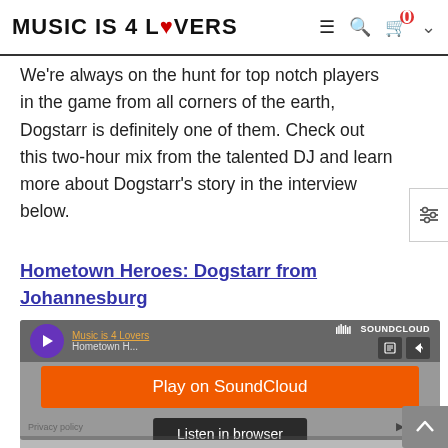MUSIC IS 4 LOVERS
We're always on the hunt for top notch players in the game from all corners of the earth, Dogstarr is definitely one of them. Check out this two-hour mix from the talented DJ and learn more about Dogstarr's story in the interview below.
Hometown Heroes: Dogstarr from Johannesburg
[Figure (screenshot): SoundCloud embedded player for 'Hometown Heroes' by Music is 4 Lovers, showing a purple play button, track info, SoundCloud logo, orange 'Play on SoundCloud' button, and dark 'Listen in browser' button. Play count shows 3.7K.]